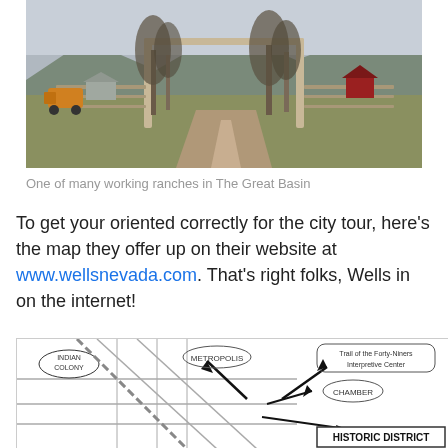[Figure (photo): Ranch gate with wooden post frame spanning a dirt road, bare trees on both sides, mountains in background, red barn visible on right, farm equipment on left, green vegetation in foreground.]
One of many working ranches in The Great Basin
To get your oriented correctly for the city tour, here’s the map they offer up on their website at www.wellsnevada.com. That’s right folks, Wells in on the internet!
[Figure (map): Partial map of Wells, Nevada showing Indian Colony, Metropolis, Trail of the Forty-Niners Interpretive Center, Chamber, Historic District labels with roads and directional arrows.]